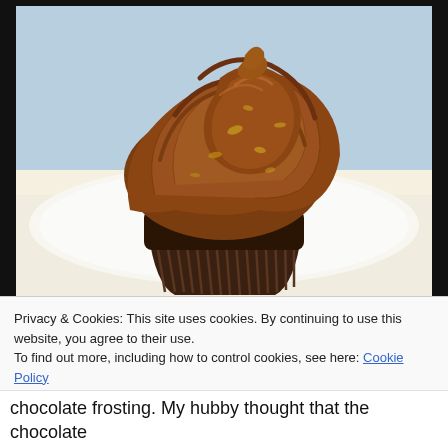[Figure (photo): Close-up photo of a chocolate cupcake with swirled chocolate frosting dusted with gold glitter, sitting on a white plate, against a light blue background. The cupcake is in a dark brown paper liner.]
Privacy & Cookies: This site uses cookies. By continuing to use this website, you agree to their use.
To find out more, including how to control cookies, see here: Cookie Policy
Close and accept
chocolate frosting. My hubby thought that the chocolate